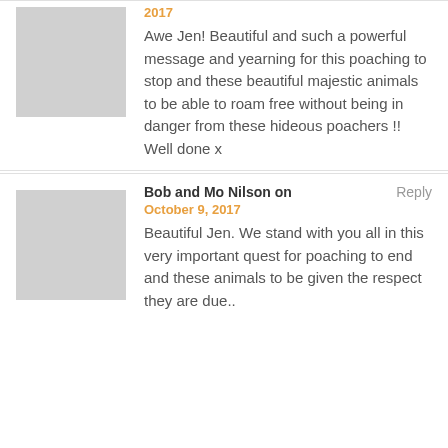2017
Awe Jen! Beautiful and such a powerful message and yearning for this poaching to stop and these beautiful majestic animals to be able to roam free without being in danger from these hideous poachers !!
Well done x
Bob and Mo Nilson on
Reply
October 9, 2017
Beautiful Jen. We stand with you all in this very important quest for poaching to end and these animals to be given the respect they are due..